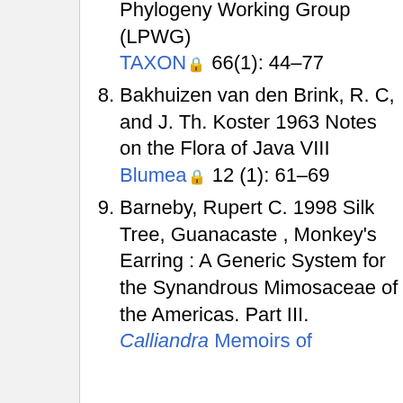Phylogeny Working Group (LPWG) TAXON 66(1): 44–77
8. Bakhuizen van den Brink, R. C, and J. Th. Koster 1963 Notes on the Flora of Java VIII Blumea 12 (1): 61–69
9. Barneby, Rupert C. 1998 Silk Tree, Guanacaste , Monkey's Earring : A Generic System for the Synandrous Mimosaceae of the Americas. Part III. Calliandra Memoirs of